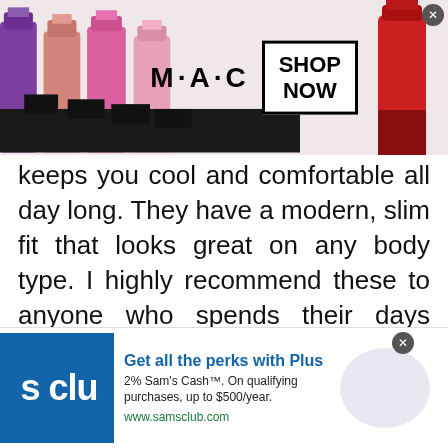[Figure (screenshot): MAC cosmetics advertisement banner with lipsticks on left and right, MAC logo in center, and a 'SHOP NOW' box with border on the right side]
keeps you cool and comfortable all day long. They have a modern, slim fit that looks great on any body type. I highly recommend these to anyone who spends their days sweating in a kitchen. Be sure to check out these Pants For Restaurant Work.
Chef Works Men’s Cool Vent is an overlooked but necessary component of the cooking wear. I always thought these were overpriced
[Figure (screenshot): Sam's Club advertisement: 'Get all the perks with Plus' — 2% Sam's Cash™. On qualifying purchases, up to $500/year. www.samsclub.com. Blue logo on left, blue circle arrow button on right.]